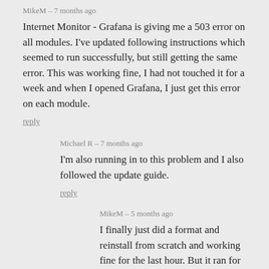MikeM – 7 months ago
Internet Monitor - Grafana is giving me a 503 error on all modules. I've updated following instructions which seemed to run successfully, but still getting the same error. This was working fine, I had not touched it for a week and when I opened Grafana, I just get this error on each module.
reply
Michael R – 7 months ago
I'm also running in to this problem and I also followed the update guide.
reply
MikeM – 5 months ago
I finally just did a format and reinstall from scratch and working fine for the last hour. But it ran for a couple months previously, so we shall see.
reply
Alex – 7 months ago